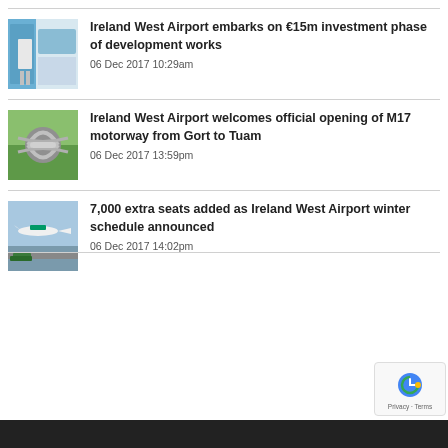[Figure (photo): Thumbnail of airport interior renovation rendering]
Ireland West Airport embarks on €15m investment phase of development works
06 Dec 2017 10:29am
[Figure (photo): Aerial photo of M17 motorway interchange]
Ireland West Airport welcomes official opening of M17 motorway from Gort to Tuam
06 Dec 2017 13:59pm
[Figure (photo): Photo of airplane on runway at Ireland West Airport]
7,000 extra seats added as Ireland West Airport winter schedule announced
06 Dec 2017 14:02pm